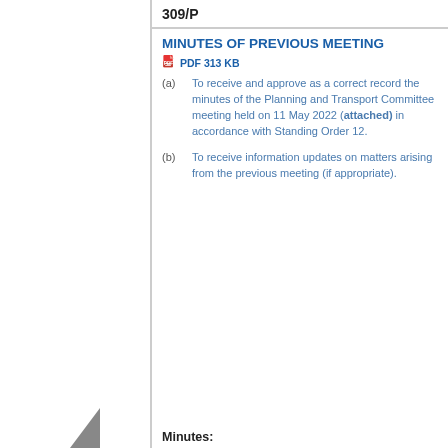309/P
MINUTES OF PREVIOUS MEETING
PDF 313 KB
(a) To receive and approve as a correct record the minutes of the Planning and Transport Committee meeting held on 11 May 2022 (attached) in accordance with Standing Order 12.
(b) To receive information updates on matters arising from the previous meeting (if appropriate).
Minutes: